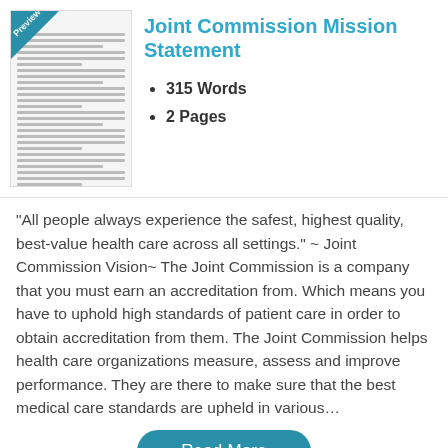[Figure (illustration): Thumbnail preview of a document page with a 'Preview' badge ribbon in the top-left corner]
Joint Commission Mission Statement
315 Words
2 Pages
“All people always experience the safest, highest quality, best-value health care across all settings.” ~ Joint Commission Vision~ The Joint Commission is a company that you must earn an accreditation from. Which means you have to uphold high standards of patient care in order to obtain accreditation from them. The Joint Commission helps health care organizations measure, assess and improve performance. They are there to make sure that the best medical care standards are upheld in various…
Read More